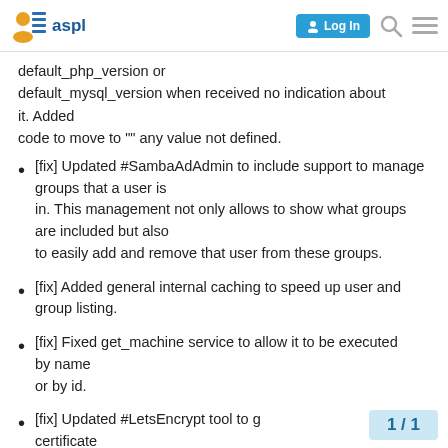aspl | Log In
default_php_version or default_mysql_version when received no indication about it. Added code to move to "" any value not defined.
[fix] Updated #SambaAdAdmin to include support to manage groups that a user is in. This management not only allows to show what groups are included but also to easily add and remove that user from these groups.
[fix] Added general internal caching to speed up user and group listing.
[fix] Fixed get_machine service to allow it to be executed by name or by id.
[fix] Updated #LetsEncrypt tool to g... certificate
1 / 1